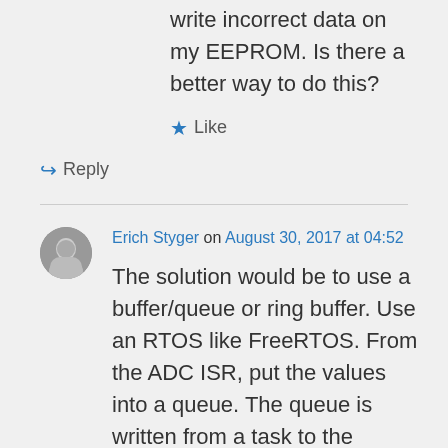write incorrect data on my EEPROM. Is there a better way to do this?
★ Like
↪ Reply
Erich Styger on August 30, 2017 at 04:52
The solution would be to use a buffer/queue or ring buffer. Use an RTOS like FreeRTOS. From the ADC ISR, put the values into a queue. The queue is written from a task to the EEPROM.